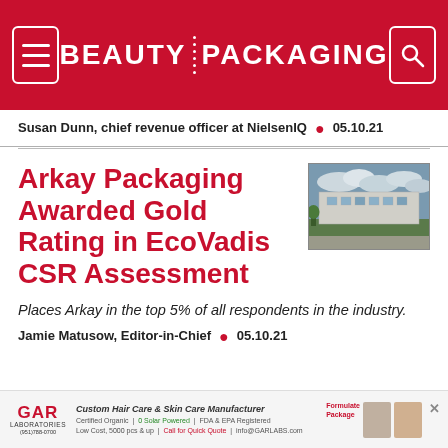BEAUTY PACKAGING
Susan Dunn, chief revenue officer at NielsenIQ • 05.10.21
[Figure (photo): Exterior view of a building with clouds in the sky — Arkay Packaging facility thumbnail]
Arkay Packaging Awarded Gold Rating in EcoVadis CSR Assessment
Places Arkay in the top 5% of all respondents in the industry.
Jamie Matusow, Editor-in-Chief • 05.10.21
[Figure (infographic): GAR Laboratories advertisement: Custom Hair Care & Skin Care Manufacturer. Certified Organic | 0 Solar Powered | FDA & EPA Registered. Low Cost, 5000 pcs & up | Call for Quick Quote | info@GARLABS.com. Formulate Package.]